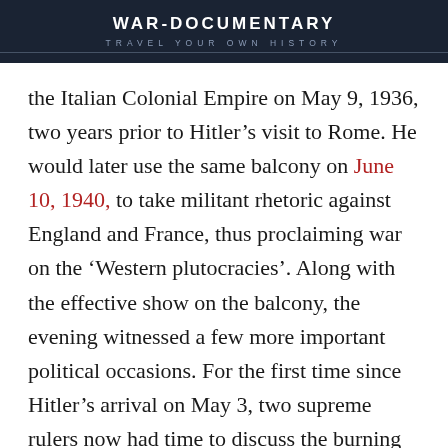WAR-DOCUMENTARY
TRAVEL YOUR OWN HISTORY
the Italian Colonial Empire on May 9, 1936, two years prior to Hitler’s visit to Rome. He would later use the same balcony on June 10, 1940, to take militant rhetoric against England and France, thus proclaiming war on the ‘Western plutocracies’. Along with the effective show on the balcony, the evening witnessed a few more important political occasions. For the first time since Hitler’s arrival on May 3, two supreme rulers now had time to discuss the burning issues and the mutual alliance, including the partner position against Czechoslovakia (indeed Mussolini agreed with